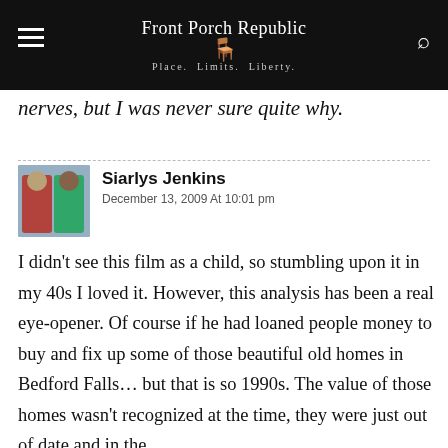Front Porch Republic — Place. Limits. Liberty.
nerves, but I was never sure quite why.
Siarlys Jenkins
December 13, 2009 At 10:01 pm
I didn't see this film as a child, so stumbling upon it in my 40s I loved it. However, this analysis has been a real eye-opener. Of course if he had loaned people money to buy and fix up some of those beautiful old homes in Bedford Falls… but that is so 1990s. The value of those homes wasn't recognized at the time, they were just out of date and in the